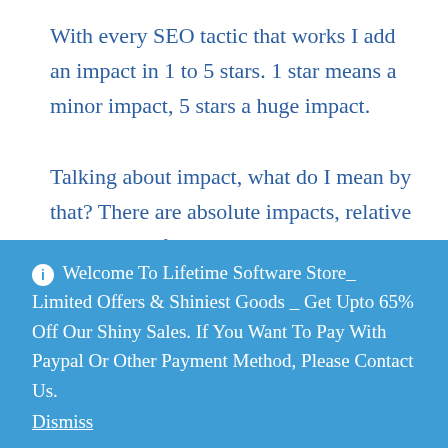With every SEO tactic that works I add an impact in 1 to 5 stars. 1 star means a minor impact, 5 stars a huge impact.
Talking about impact, what do I mean by that? There are absolute impacts, relative impacts, swiftness impacts and durability impacts. An absolute impact would be a rise in organic traffic by 1,000 visitors a month. A relative impact would be a
ℹ Welcome To Lifetime Software Store_ Limited Offers & Shiniest Goods _ Get Upto 65% Off Our Shiny Sales. If You Want To Pay With Paypal Or Other Payment Method, Please Contact Us. Dismiss